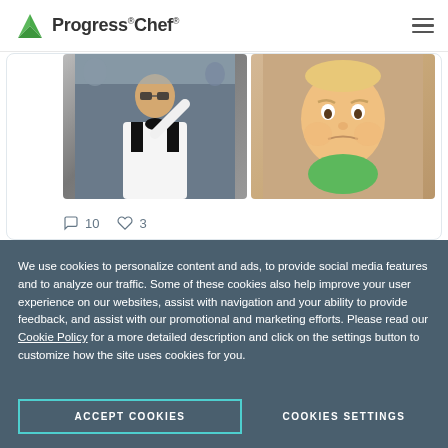Progress Chef
[Figure (screenshot): Partial tweet card showing two photos: a man in a white suit at Cannes-style event and a baby with a skeptical expression. Tweet action icons show 10 comments and 3 likes.]
[Figure (screenshot): Tweet from Progress Chef @chef · Aug 24 with verified badge and Twitter bird icon. Text reads: Be a part of #ChefConf22, the biggest #...]
We use cookies to personalize content and ads, to provide social media features and to analyze our traffic. Some of these cookies also help improve your user experience on our websites, assist with navigation and your ability to provide feedback, and assist with our promotional and marketing efforts. Please read our Cookie Policy for a more detailed description and click on the settings button to customize how the site uses cookies for you.
ACCEPT COOKIES
COOKIES SETTINGS